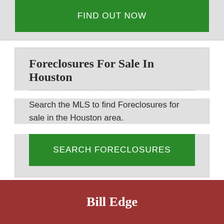[Figure (other): Green button labeled FIND OUT NOW on a light gray card background]
Foreclosures For Sale In Houston
Search the MLS to find Foreclosures for sale in the Houston area.
[Figure (other): Green button labeled SEARCH FORECLOSURES]
Bill Edge